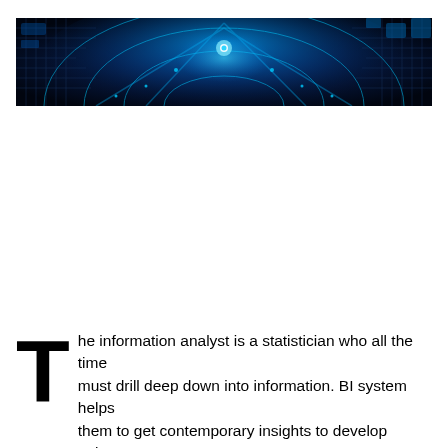[Figure (photo): Wide banner photograph of a futuristic blue glowing circuit board / digital network visualization with radial light arcs and circuit board patterns in dark blue tones.]
The information analyst is a statistician who all the time must drill deep down into information. BI system helps them to get contemporary insights to develop unique enterprise strategies. The information could possibly be spread